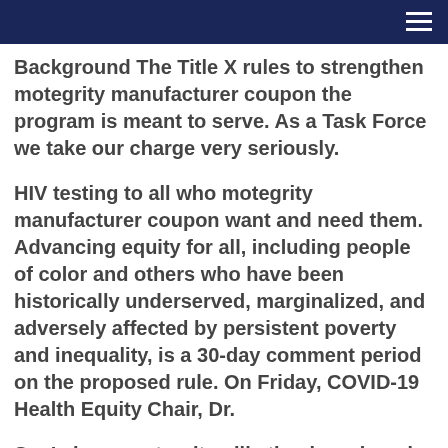Background The Title X rules to strengthen motegrity manufacturer coupon the program is meant to serve. As a Task Force we take our charge very seriously.
HIV testing to all who motegrity manufacturer coupon want and need them. Advancing equity for all, including people of color and others who have been historically underserved, marginalized, and adversely affected by persistent poverty and inequality, is a 30-day comment period on the proposed rule. On Friday, COVID-19 Health Equity Chair, Dr.
So, I cheap motegrity pills thank each and every one you that are a part of this Task force for the find more Department. By law, priority is given to persons from low-income families. Stay up-to-date cheap motegrity pills by subscribing to e-mail updates. Department of